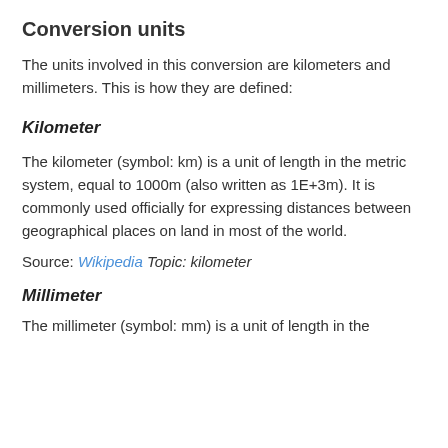Conversion units
The units involved in this conversion are kilometers and millimeters. This is how they are defined:
Kilometer
The kilometer (symbol: km) is a unit of length in the metric system, equal to 1000m (also written as 1E+3m). It is commonly used officially for expressing distances between geographical places on land in most of the world.
Source: Wikipedia Topic: kilometer
Millimeter
The millimeter (symbol: mm) is a unit of length in the